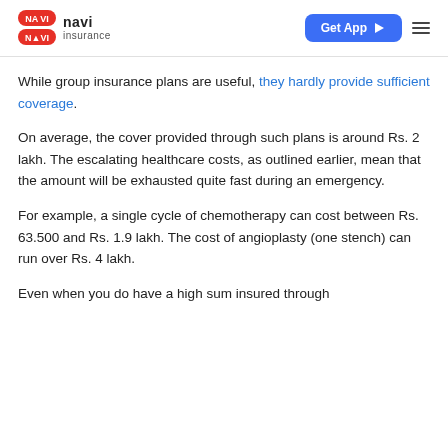navi insurance | Get App | menu
While group insurance plans are useful, they hardly provide sufficient coverage.
On average, the cover provided through such plans is around Rs. 2 lakh. The escalating healthcare costs, as outlined earlier, mean that the amount will be exhausted quite fast during an emergency.
For example, a single cycle of chemotherapy can cost between Rs. 63.500 and Rs. 1.9 lakh. The cost of angioplasty (one stench) can run over Rs. 4 lakh.
Even when you do have a high sum insured through